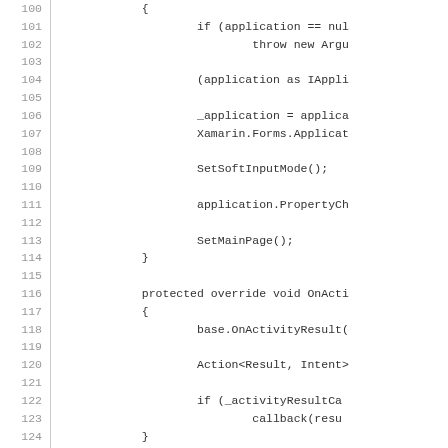[Figure (screenshot): Source code listing showing lines 100-129 of a C# Android activity file. Code includes conditionals, method calls like SetSoftInputMode(), SetMainPage(), OnActivityResult, OnCreate, and usage of Xamarin.Forms.]